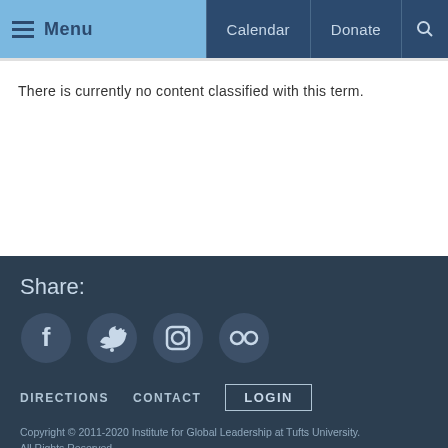Menu | Calendar | Donate | Search
There is currently no content classified with this term.
Share:
[Figure (other): Social media icons: Facebook, Twitter/bird, Instagram, Flickr]
DIRECTIONS   CONTACT   LOGIN
Copyright © 2011-2020 Institute for Global Leadership at Tufts University. All Rights Reserved.
Institute for Global Leadership
96 Packard Avenue
Medford, MA 02155
United States of America